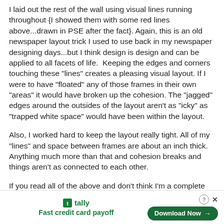I laid out the rest of the wall using visual lines running throughout {I showed them with some red lines above...drawn in PSE after the fact}. Again, this is an old newspaper layout trick I used to use back in my newspaper designing days...but I think design is design and can be applied to all facets of life.  Keeping the edges and corners touching these "lines" creates a pleasing visual layout. If I were to have "floated" any of those frames in their own "areas" it would have broken up the cohesion. The "jagged" edges around the outsides of the layout aren't as "icky" as "trapped white space" would have been within the layout.
Also, I worked hard to keep the layout really tight. All of my "lines" and space between frames are about an inch thick. Anything much more than that and cohesion breaks and things aren't as connected to each other.
If you read all of the above and don't think I'm a complete OCD nut, God bless you.
[Figure (other): Advertisement banner for Tally app: 'Fast credit card payoff' with a Download Now button]